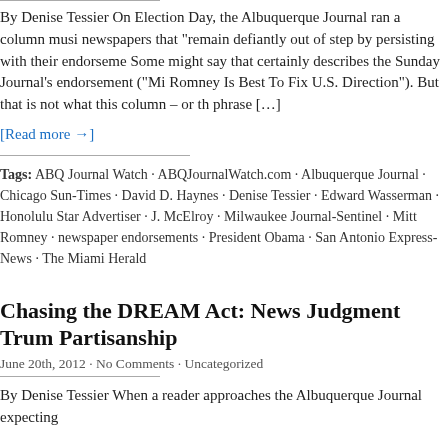By Denise Tessier On Election Day, the Albuquerque Journal ran a column musing about newspapers that “remain defiantly out of step by persisting with their endorsements.” Some might say that certainly describes the Sunday Journal’s endorsement (“Mitt Romney Is Best To Fix U.S. Direction”). But that is not what this column – or the phrase […]
[Read more →]
Tags: ABQ Journal Watch · ABQJournalWatch.com · Albuquerque Journal · Chicago Sun-Times · David D. Haynes · Denise Tessier · Edward Wasserman · Honolulu Star Advertiser · J. McElroy · Milwaukee Journal-Sentinel · Mitt Romney · newspaper endorsements · President Obama · San Antonio Express-News · The Miami Herald
Chasing the DREAM Act: News Judgment Trumps Partisanship
June 20th, 2012 · No Comments · Uncategorized
By Denise Tessier When a reader approaches the Albuquerque Journal expecting